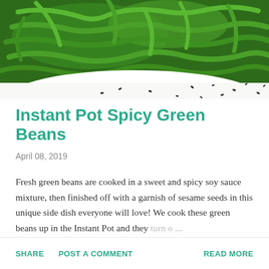[Figure (photo): A white bowl filled with stir-fried spicy green beans garnished with black sesame seeds, viewed from above on a white surface with scattered sesame seeds around the bowl.]
Instant Pot Spicy Green Beans
April 08, 2019
Fresh green beans are cooked in a sweet and spicy soy sauce mixture, then finished off with a garnish of sesame seeds in this unique side dish everyone will love! We cook these green beans up in the Instant Pot and they turn o…
SHARE  POST A COMMENT  READ MORE